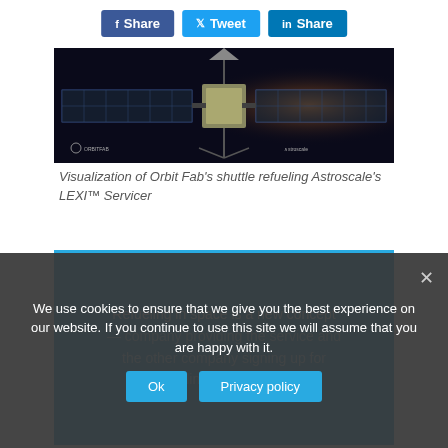[Figure (other): Row of three social sharing buttons: Facebook Share (blue), Twitter Tweet (light blue), LinkedIn Share (dark blue)]
[Figure (photo): Visualization of a satellite with large solar panels in space — Orbit Fab shuttle refueling Astroscale's LEXI Servicer. Logos of ORBITFAB and Astroscale visible in bottom corners.]
Visualization of Orbit Fab's shuttle refueling Astroscale's LEXI™ Servicer
Refueling in space is a new concept — company providing the service and the other company signing up for refueling while in orbit.
We use cookies to ensure that we give you the best experience on our website. If you continue to use this site we will assume that you are happy with it.